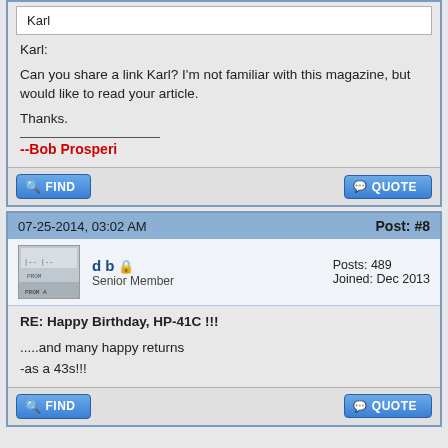Karl
Karl:

Can you share a link Karl? I'm not familiar with this magazine, but would like to read your article.

Thanks.
--Bob Prosperi
07-25-2014, 03:02 AM
Post: #8
d b
Senior Member
Posts: 489
Joined: Dec 2013
RE: Happy Birthday, HP-41C !!!
.....and many happy returns
-as a 43s!!!